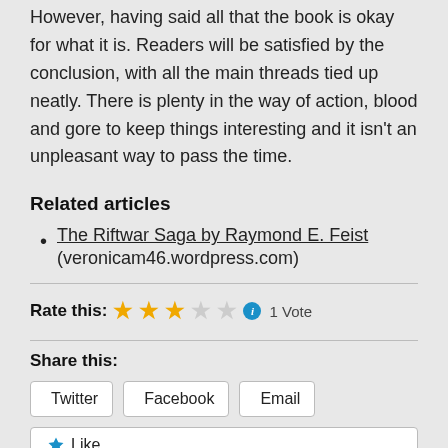However, having said all that the book is okay for what it is. Readers will be satisfied by the conclusion, with all the main threads tied up neatly. There is plenty in the way of action, blood and gore to keep things interesting and it isn't an unpleasant way to pass the time.
Related articles
The Riftwar Saga by Raymond E. Feist (veronicam46.wordpress.com)
Rate this: ★★★☆☆ ℹ 1 Vote
Share this:
Twitter  Facebook  Email
Like